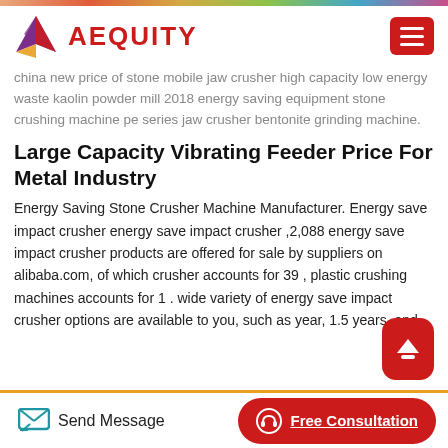AEQUITY
china new price of stone mobile jaw crusher high capacity low energy waste kaolin powder mill 2018 energy saving equipment stone crushing machine pe series jaw crusher bentonite grinding machine.
Large Capacity Vibrating Feeder Price For Metal Industry
Energy Saving Stone Crusher Machine Manufacturer. Energy save impact crusher energy save impact crusher ,2,088 energy save impact crusher products are offered for sale by suppliers on alibaba.com, of which crusher accounts for 39 , plastic crushing machines accounts for 1 . wide variety of energy save impact crusher options are available to you, such as year, 1.5 years, and
Send Message   Free Consultation